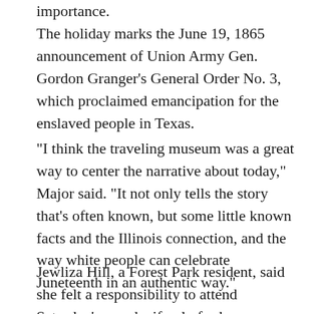importance.
The holiday marks the June 19, 1865 announcement of Union Army Gen. Gordon Granger’s General Order No. 3, which proclaimed emancipation for the enslaved people in Texas.
“I think the traveling museum was a great way to center the narrative about today,” Major said. “It not only tells the story that’s often known, but some little known facts and the Illinois connection, and the way white people can celebrate Juneteenth in an authentic way.”
Jewliza Hill, a Forest Park resident, said she felt a responsibility to attend Saturday’s parade, if only for her daughter Laila Johnson’s sake.